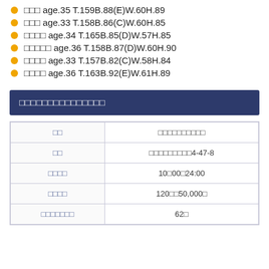□□□ age.35 T.159B.88(E)W.60H.89
□□□ age.33 T.158B.86(C)W.60H.85
□□□□ age.34 T.165B.85(D)W.57H.85
□□□□□ age.36 T.158B.87(D)W.60H.90
□□□□ age.33 T.157B.82(C)W.58H.84
□□□□ age.36 T.163B.92(E)W.61H.89
□□□□□□□□□□□□□□□
| □□ | □□□□□□□□□□ |
| --- | --- |
| □□ | □□□□□□□□□4-47-8 |
| □□□□ | 10□00□24:00 |
| □□□□ | 120□□50,000□ |
| □□□□□□□ | 62□ |